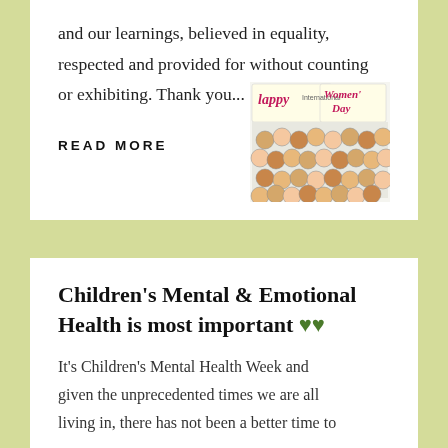and our learnings, believed in equality, respected and provided for without counting or exhibiting. Thank you...
READ MORE
[Figure (illustration): Happy International Women's Day illustration with diverse women faces and colorful text banners]
Children's Mental & Emotional Health is most important 💚💚
It's Children's Mental Health Week and given the unprecedented times we are all living in, there has not been a better time to